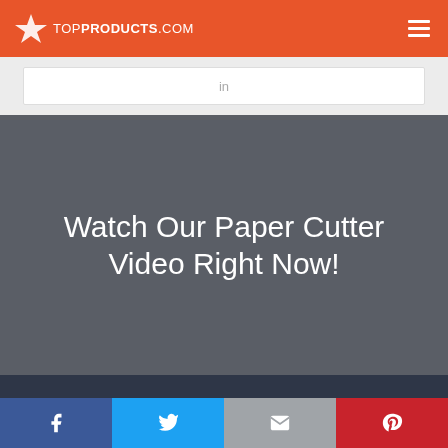TOP PRODUCTS .COM
in
Watch Our Paper Cutter Video Right Now!
[Figure (other): Social share buttons: Facebook, Twitter, Email, Pinterest]